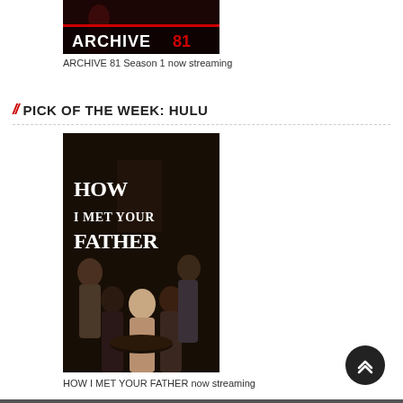[Figure (photo): ARCHIVE 81 show poster/logo with red and dark tones]
ARCHIVE 81 Season 1 now streaming
// PICK OF THE WEEK: HULU
[Figure (photo): HOW I MET YOUR FATHER show poster featuring cast on dark background with show title in large serif font]
HOW I MET YOUR FATHER now streaming